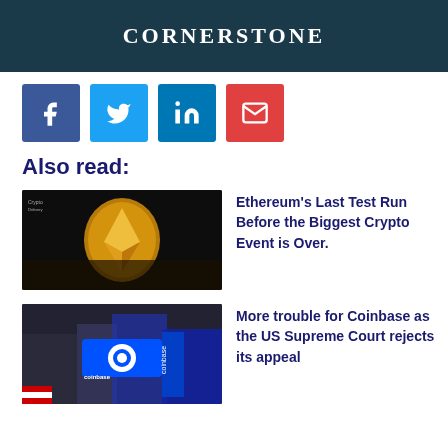[Figure (photo): Dark teal/blue background image with the text CORNERSTONE in white bold letters]
[Figure (infographic): Social share buttons: Facebook (dark blue), Twitter (light blue), LinkedIn (blue), Email (red)]
Also read:
[Figure (photo): Ethereum gold coin on dark background with crypto delivery logo]
Ethereum's Last Test Run Before the Biggest Crypto Event is Over.
[Figure (photo): Coinbase signage and banners on a city building, Times Square area]
More trouble for Coinbase as the US Supreme Court rejects its appeal